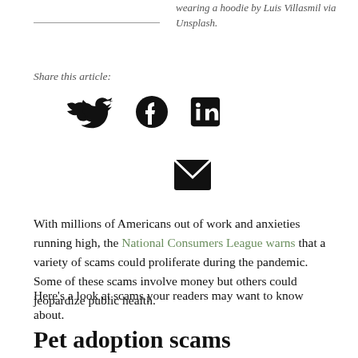wearing a hoodie by Luis Villasmil via Unsplash.
Share this article:
[Figure (infographic): Social media sharing icons: Twitter bird, Facebook circle, LinkedIn square, Email envelope]
With millions of Americans out of work and anxieties running high, the National Consumers League warns that a variety of scams could proliferate during the pandemic. Some of these scams involve money but others could jeopardize public health.
Here’s a look at scams your readers may want to know about.
Pet adoption scams